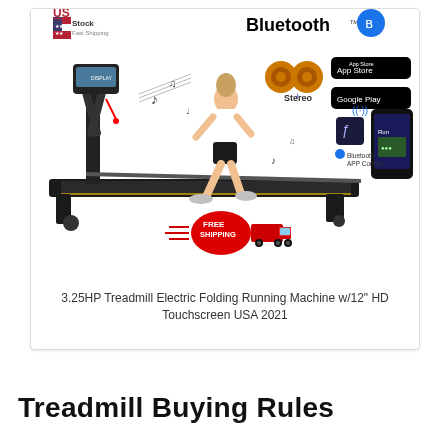[Figure (photo): Product listing image of a treadmill with a woman running on it. Shows 'US Stock Fast Shipping', 'Bluetooth' logo, stereo speakers, App Store and Google Play badges, Bluetooth APP Control, and a Free Shipping truck badge. White background product photo.]
3.25HP Treadmill Electric Folding Running Machine w/12" HD Touchscreen USA 2021
Treadmill Buying Rules